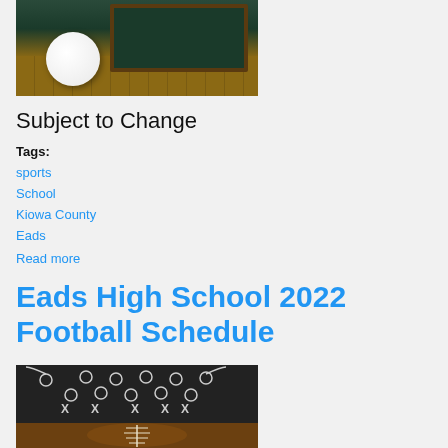[Figure (photo): Volleyball on a wood gymnasium floor with a green chalkboard in the background]
Subject to Change
Tags:
sports
School
Kiowa County
Eads
Read more
Eads High School 2022 Football Schedule
[Figure (photo): Football play diagram drawn with chalk on a dark chalkboard, with a football in the foreground]